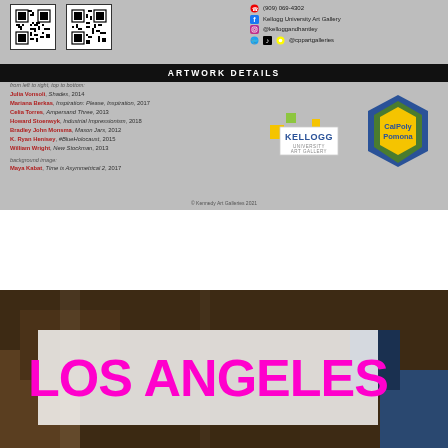[Figure (infographic): Top section: QR codes, social media info for Kellogg University Art Gallery, Artwork Details banner, artwork credits list, Kellogg University Art Gallery logo, Cal Poly Pomona logo]
from left to right, top to bottom:
Julia Vensoli, Shades, 2014
Mariana Berkas, Inspiration: Please, Inspiration, 2017
Celia Torres, Ampersand Three, 2013
Howard Stoenwyk, Industrial Impressionism, 2018
Bradley John Monsma, Mason Jars, 2012
K. Ryan Henisey, #BlueHolocaust, 2015
William Wright, New Stockman, 2013
background image:
Maya Kabat, Time is Asymmetrical 2, 2017
© Kennedy Art Galleries 2021
[Figure (photo): Bottom photo with LOS ANGELES text overlay in magenta/pink on semi-transparent white box, dark workshop/studio background]